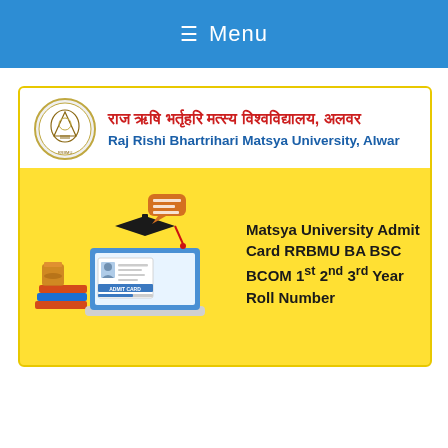≡ Menu
[Figure (illustration): University banner and admit card illustration for Raj Rishi Bhartrihari Matsya University, Alwar. Yellow card with university logo, Hindi and English name at top, admit card graphic on laptop illustration on left, and text 'Matsya University Admit Card RRBMU BA BSC BCOM 1st 2nd 3rd Year Roll Number' on right.]